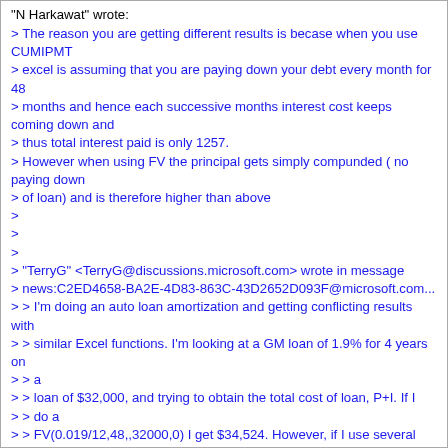"N Harkawat" wrote:
> The reason you are getting different results is becase when you use CUMIPMT
> excel is assuming that you are paying down your debt every month for 48
> months and hence each successive months interest cost keeps coming down and
> thus total interest paid is only 1257.
> However when using FV the principal gets simply compunded ( no paying down
> of loan) and is therefore higher than above
>
>
>
> "TerryG" <TerryG@discussions.microsoft.com> wrote in message
> news:C2ED4658-BA2E-4D83-863C-43D2652D093F@microsoft.com...
> > I'm doing an auto loan amortization and getting conflicting results with
> > similar Excel functions. I'm looking at a GM loan of 1.9% for 4 years on
> > a
> > loan of $32,000, and trying to obtain the total cost of loan, P+I. If I
> > do a
> > FV(0.019/12,48,,32000,0) I get $34,524. However, if I use several online
> > auto loan calculators I get $33,257. I can obtain the latter result by
> > using
> > $32,000 + CUMIPMT(0.019/12,48,32000,1,48,0). But shouldn't the